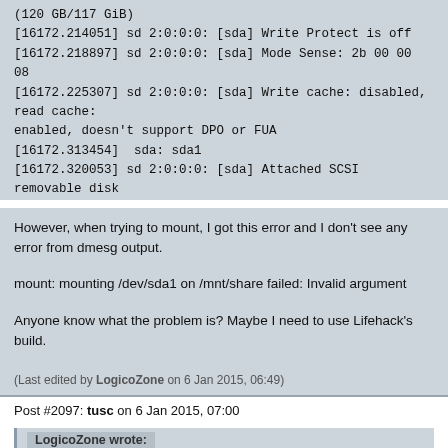(120 GB/117 GiB)
[16172.214051] sd 2:0:0:0: [sda] Write Protect is off
[16172.218897] sd 2:0:0:0: [sda] Mode Sense: 2b 00 00 08
[16172.225307] sd 2:0:0:0: [sda] Write cache: disabled, read cache: enabled, doesn't support DPO or FUA
[16172.313454]  sda: sda1
[16172.320053] sd 2:0:0:0: [sda] Attached SCSI removable disk
However, when trying to mount, I got this error and I don't see any error from dmesg output.
mount: mounting /dev/sda1 on /mnt/share failed: Invalid argument
Anyone know what the problem is? Maybe I need to use Lifehack's build.
(Last edited by LogicoZone on 6 Jan 2015, 06:49)
Post #2097: tusc on 6 Jan 2015, 07:00
LogicoZone wrote:
I'm using Kaloz's build and try to test the usb storage but I'm unable to mount. I tried two different usb thumb drive with one as hfsplus and the other one as exfat formatted.
By running "fdisk -l", here is the output.
Device   Boot Start       End  Sectors  Size Id Type
/dev/sda1  *   8064 246546431 246538368 117.6G  7